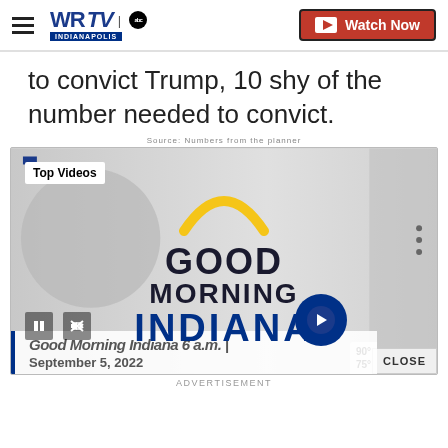WRTV | ABC INDIANAPOLIS — Watch Now
to convict Trump, 10 shy of the number needed to convict.
[Figure (screenshot): Video player showing 'Good Morning Indiana' TV show logo with yellow arc, 'Top Videos' badge in upper left, pause/mute controls, next arrow button, weather badge showing 90/75, and a CLOSE button. Below the video, a caption reads 'Good Morning Indiana 6 a.m. | September 5, 2022'. An ADVERTISEMENT label appears below the player.]